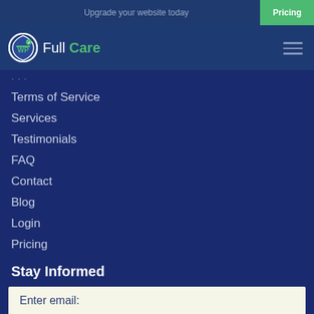Upgrade your website today
[Figure (logo): WP Full Care logo with WP shield icon and green 'Full Care' text]
Terms of Service
Services
Testimonials
FAQ
Contact
Blog
Login
Pricing
Stay Informed
Enter email: